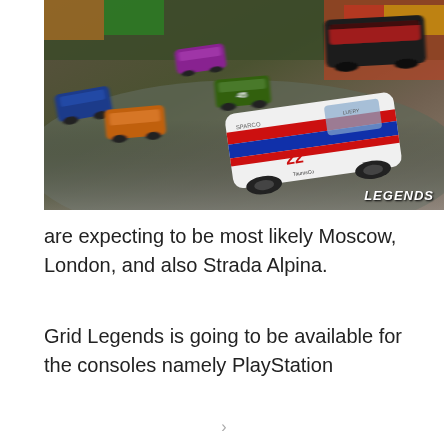[Figure (screenshot): Racing video game screenshot showing multiple colorful race cars on a track. A prominent white car with red and blue stripes and the number 22 is in the foreground. Several other cars (purple, green, orange, blue) are visible in the background. 'LEGENDS' watermark appears in the bottom-right corner.]
are expecting to be most likely Moscow, London, and also Strada Alpina.
Grid Legends is going to be available for the consoles namely PlayStation